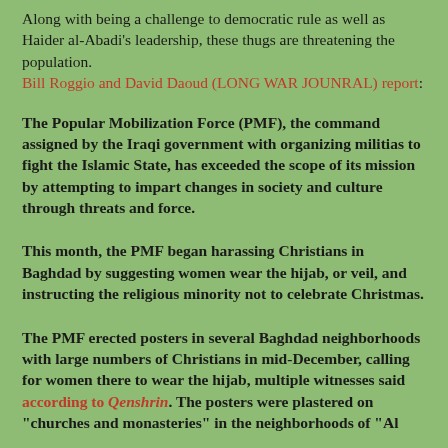Along with being a challenge to democratic rule as well as Haider al-Abadi's leadership, these thugs are threatening the population. Bill Roggio and David Daoud (LONG WAR JOUNRAL) report:
The Popular Mobilization Force (PMF), the command assigned by the Iraqi government with organizing militias to fight the Islamic State, has exceeded the scope of its mission by attempting to impart changes in society and culture through threats and force.
This month, the PMF began harassing Christians in Baghdad by suggesting women wear the hijab, or veil, and instructing the religious minority not to celebrate Christmas.
The PMF erected posters in several Baghdad neighborhoods with large numbers of Christians in mid-December, calling for women there to wear the hijab, multiple witnesses said according to Qenshrin. The posters were plastered on "churches and monasteries" in the neighborhoods of "Al